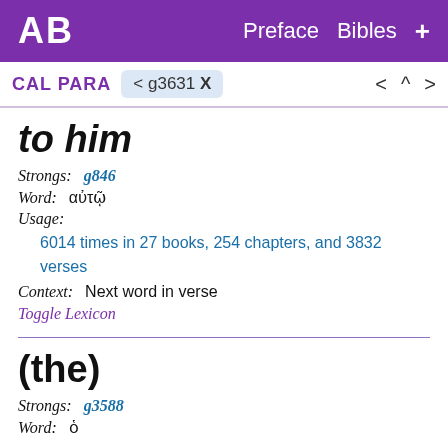AB  Preface  Bibles  +
CAL PARA  < g3631 X  <  ^  >
to him
Strongs:   g846
Word:   αὐτῷ
Usage:
6014 times in 27 books, 254 chapters, and 3832 verses
Context:   Next word in verse
Toggle Lexicon
(the)
Strongs:   g3588
Word:   ὁ